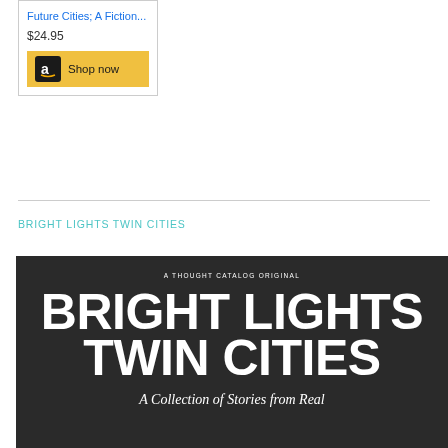[Figure (screenshot): Amazon advertisement box showing a book titled 'Future Cities; A Fiction...' priced at $24.95 with a 'Shop now' button featuring the Amazon logo on a gold background]
BRIGHT LIGHTS TWIN CITIES
[Figure (photo): Book cover for 'Bright Lights Twin Cities' — dark charcoal background with white bold uppercase text reading 'BRIGHT LIGHTS TWIN CITIES' and subtitle in italic 'A Collection of Stories from Real', with top label 'A THOUGHT CATALOG ORIGINAL']